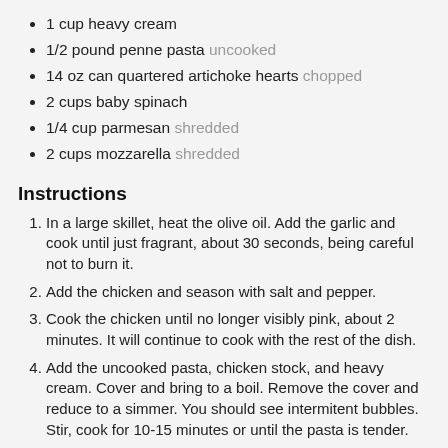1 cup heavy cream
1/2 pound penne pasta uncooked
14 oz can quartered artichoke hearts chopped
2 cups baby spinach
1/4 cup parmesan shredded
2 cups mozzarella shredded
Instructions
In a large skillet, heat the olive oil. Add the garlic and cook until just fragrant, about 30 seconds, being careful not to burn it.
Add the chicken and season with salt and pepper.
Cook the chicken until no longer visibly pink, about 2 minutes. It will continue to cook with the rest of the dish.
Add the uncooked pasta, chicken stock, and heavy cream. Cover and bring to a boil. Remove the cover and reduce to a simmer. You should see intermitent bubbles. Stir, cook for 10-15 minutes or until the pasta is tender.
Stir in the artichoke hearts and spinach. Continue stirring until the spinach is wilted.